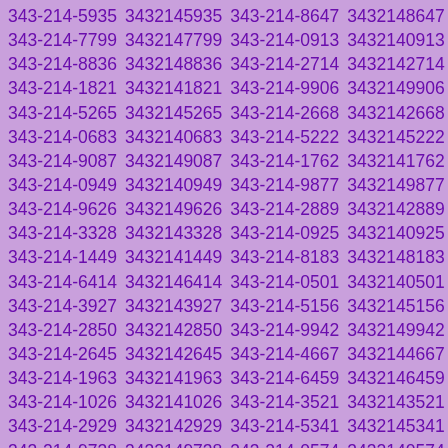| 343-214-5935 | 3432145935 | 343-214-8647 | 3432148647 |
| 343-214-7799 | 3432147799 | 343-214-0913 | 3432140913 |
| 343-214-8836 | 3432148836 | 343-214-2714 | 3432142714 |
| 343-214-1821 | 3432141821 | 343-214-9906 | 3432149906 |
| 343-214-5265 | 3432145265 | 343-214-2668 | 3432142668 |
| 343-214-0683 | 3432140683 | 343-214-5222 | 3432145222 |
| 343-214-9087 | 3432149087 | 343-214-1762 | 3432141762 |
| 343-214-0949 | 3432140949 | 343-214-9877 | 3432149877 |
| 343-214-9626 | 3432149626 | 343-214-2889 | 3432142889 |
| 343-214-3328 | 3432143328 | 343-214-0925 | 3432140925 |
| 343-214-1449 | 3432141449 | 343-214-8183 | 3432148183 |
| 343-214-6414 | 3432146414 | 343-214-0501 | 3432140501 |
| 343-214-3927 | 3432143927 | 343-214-5156 | 3432145156 |
| 343-214-2850 | 3432142850 | 343-214-9942 | 3432149942 |
| 343-214-2645 | 3432142645 | 343-214-4667 | 3432144667 |
| 343-214-1963 | 3432141963 | 343-214-6459 | 3432146459 |
| 343-214-1026 | 3432141026 | 343-214-3521 | 3432143521 |
| 343-214-2929 | 3432142929 | 343-214-5341 | 3432145341 |
| 343-214-9738 | 3432149738 | 343-214-0574 | 3432140574 |
| 343-214-6383 | 3432146383 | 343-214-0794 | 3432140794 |
| 343-214-2949 | 3432142949 | 343-214-6773 | 3432146773 |